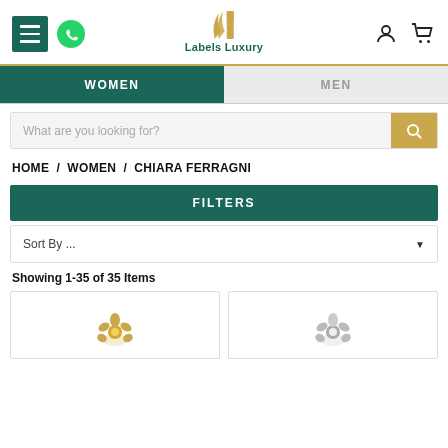[Figure (logo): Labels Luxury logo with golden wheat/leaf icon and teal brand name]
WOMEN / MEN navigation tabs
What are you looking for?
HOME / WOMEN / CHIARA FERRAGNI
FILTERS
Sort By ...
Showing 1-35 of 35 Items
[Figure (photo): Gold floral jewelry item]
[Figure (photo): Silver floral jewelry item]